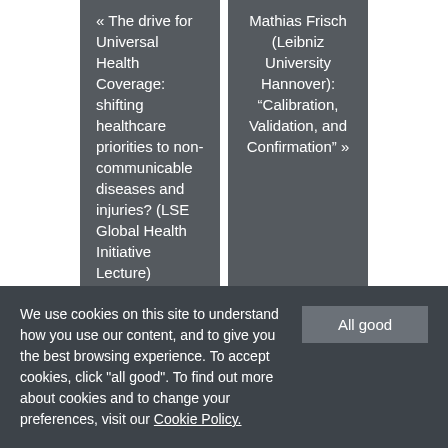« The drive for Universal Health Coverage: shifting healthcare priorities to non-communicable diseases and injuries? (LSE Global Health Initiative Lecture)
Mathias Frisch (Leibniz University Hannover): “Calibration, Validation, and Confirmation” »
We use cookies on this site to understand how you use our content, and to give you the best browsing experience. To accept cookies, click "all good". To find out more about cookies and to change your preferences, visit our Cookie Policy.